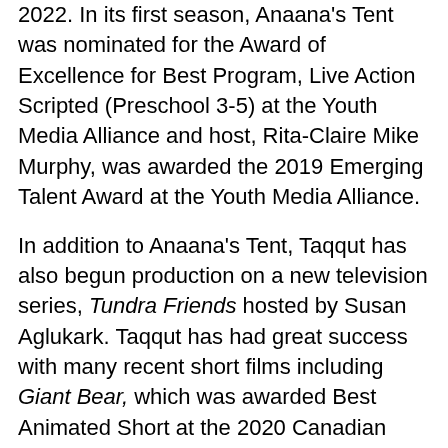2022. In its first season, Anaana's Tent was nominated for the Award of Excellence for Best Program, Live Action Scripted (Preschool 3-5) at the Youth Media Alliance and host, Rita-Claire Mike Murphy, was awarded the 2019 Emerging Talent Award at the Youth Media Alliance.
In addition to Anaana's Tent, Taqqut has also begun production on a new television series, Tundra Friends hosted by Susan Aglukark. Taqqut has had great success with many recent short films including Giant Bear, which was awarded Best Animated Short at the 2020 Canadian Screen Awards. Their recent stop-motion short film, The Shaman's Apprentice has been widely recognized throughout the film festival circuit, receiving many reputable awards including IMDb Short Cuts' Best Canadian Film Award at the Toronto International Film Festival, the FIPRESCI Award at the 2021